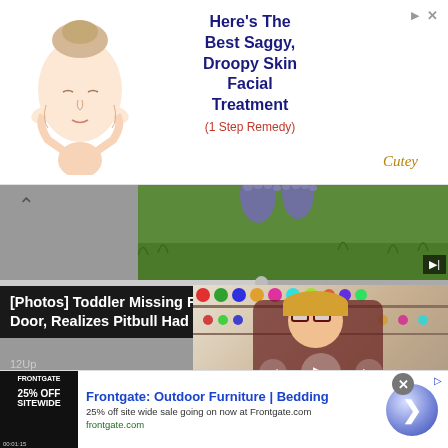[Figure (photo): Advertisement banner at top: illustrated face of a woman with eyes closed, hands on cheeks. Text reads 'Here's The Best Saggy, Droopy Skin Facial Treatment (1 Step Remedy)' with a cursive brand signature and ad icons.]
[Figure (screenshot): Video content area showing a background image of grass/feet at top, progress bar, and embedded video player thumbnail showing a woman (Heidi Gustad) in a craft room with colorful items. Title overlay reads '[Photos] Toddler Missing For 2 Days: Man Opens Door, Realizes Pitbull Had Her' with source '12Up'.]
[Figure (photo): Bottom advertisement for Frontgate: Outdoor Furniture | Bedding. Shows '25% OFF SITEWIDE' thumbnail on black background, with text '25% off site wide sale going on now at Frontgate.com' and link 'frontgate.com', plus a blue circle CTA button with arrow.]